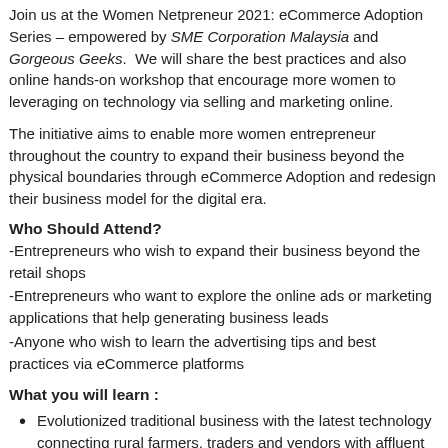Join us at the Women Netpreneur 2021: eCommerce Adoption Series – empowered by SME Corporation Malaysia and Gorgeous Geeks.  We will share the best practices and also online hands-on workshop that encourage more women to leveraging on technology via selling and marketing online.
The initiative aims to enable more women entrepreneur throughout the country to expand their business beyond the physical boundaries through eCommerce Adoption and redesign their business model for the digital era.
Who Should Attend?
-Entrepreneurs who wish to expand their business beyond the retail shops
-Entrepreneurs who want to explore the online ads or marketing applications that help generating business leads
-Anyone who wish to learn the advertising tips and best practices via eCommerce platforms
What you will learn :
Evolutionized traditional business with the latest technology connecting rural farmers, traders and vendors with affluent consumers via e-Commerce and e-